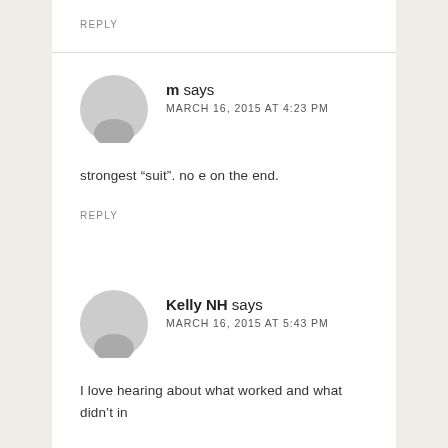REPLY
m says
MARCH 16, 2015 AT 4:23 PM
strongest “suit”. no e on the end.
REPLY
Kelly NH says
MARCH 16, 2015 AT 5:43 PM
I love hearing about what worked and what didn’t in